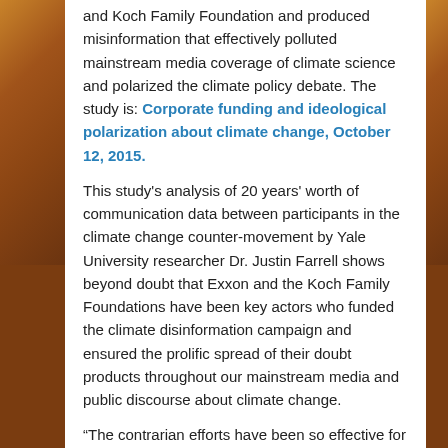and Koch Family Foundation and produced misinformation that effectively polluted mainstream media coverage of climate science and polarized the climate policy debate. The study is: Corporate funding and ideological polarization about climate change, October 12, 2015.
This study's analysis of 20 years' worth of communication data between participants in the climate change counter-movement by Yale University researcher Dr. Justin Farrell shows beyond doubt that Exxon and the Koch Family Foundations have been key actors who funded the climate disinformation campaign and ensured the prolific spread of their doubt products throughout our mainstream media and public discourse about climate change.
“The contrarian efforts have been so effective for the fact that they have made it difficult for ordinary Americans to even know who to trust,” Dr. Farrell told the Washington Post.  Dr Farrell said: “This counter-movement produced messages aimed, at the very least, at creating ideological polarization through politicized tactics, and at the very